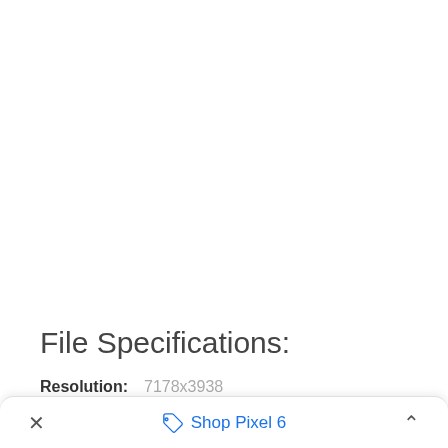File Specifications:
Resolution:   7178x3938
× Shop Pixel 6 ˄